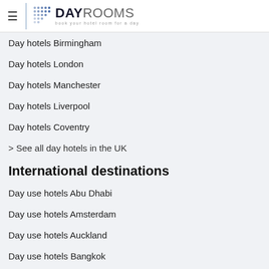DAYROOMS — book your hotel room for a day
Day hotels Birmingham
Day hotels London
Day hotels Manchester
Day hotels Liverpool
Day hotels Coventry
> See all day hotels in the UK
International destinations
Day use hotels Abu Dhabi
Day use hotels Amsterdam
Day use hotels Auckland
Day use hotels Bangkok
Day use hotels Brussels
Day use hotels Dublin